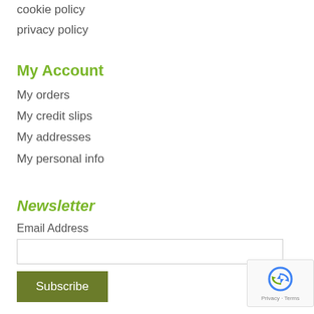cookie policy
privacy policy
My Account
My orders
My credit slips
My addresses
My personal info
Newsletter
Email Address
[Figure (other): reCAPTCHA badge with robot icon, Privacy and Terms links]